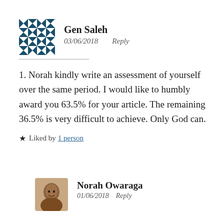[Figure (illustration): Avatar image for Gen Saleh — a geometric blue and white quilt/tile pattern square icon]
Gen Saleh
03/06/2018    Reply
1. Norah kindly write an assessment of yourself over the same period. I would like to humbly award you 63.5% for your article. The remaining 36.5% is very difficult to achieve. Only God can.
★ Liked by 1 person
[Figure (photo): Avatar photo of Norah Owaraga — a smiling woman]
Norah Owaraga
01/06/2018    Reply